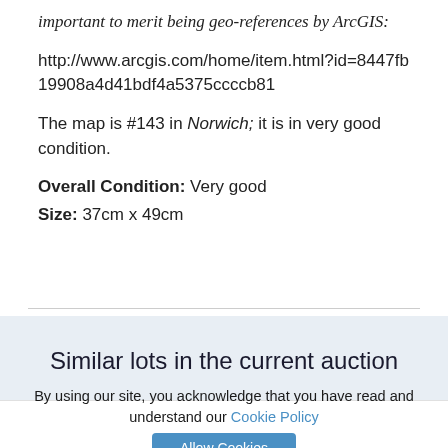important to merit being geo-references by ArcGIS:
http://www.arcgis.com/home/item.html?id=8447fb19908a4d41bdf4a5375ccccb81
The map is #143 in Norwich; it is in very good condition.
Overall Condition: Very good
Size: 37cm x 49cm
Similar lots in the current auction
By using our site, you acknowledge that you have read and understand our Cookie Policy
Allow Cookies